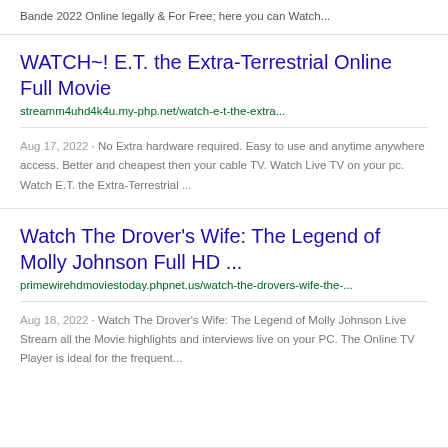Bande 2022 Online legally & For Free; here you can Watch...
WATCH~! E.T. the Extra-Terrestrial Online Full Movie
streamm4uhd4k4u.my-php.net/watch-e-t-the-extra...
Aug 17, 2022 · No Extra hardware required. Easy to use and anytime anywhere access. Better and cheapest then your cable TV. Watch Live TV on your pc. Watch E.T. the Extra-Terrestrial ...
Watch The Drover’s Wife: The Legend of Molly Johnson Full HD ...
primewirehdmoviestoday.phpnet.us/watch-the-drovers-wife-the-...
Aug 18, 2022 · Watch The Drover’s Wife: The Legend of Molly Johnson Live Stream all the Movie highlights and interviews live on your PC. The Online TV Player is ideal for the frequent...